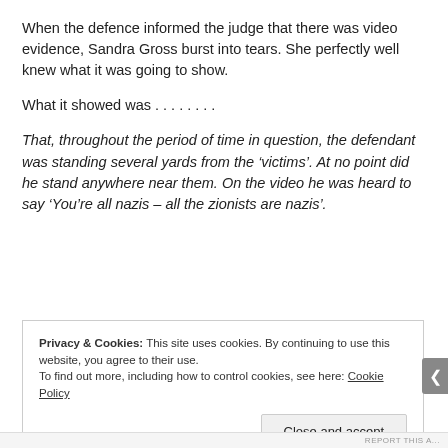When the defence informed the judge that there was video evidence, Sandra Gross burst into tears. She perfectly well knew what it was going to show.
What it showed was . . . . . . . .
That, throughout the period of time in question, the defendant was standing several yards from the ‘victims’. At no point did he stand anywhere near them. On the video he was heard to say ‘You’re all nazis – all the zionists are nazis’.
Privacy & Cookies: This site uses cookies. By continuing to use this website, you agree to their use. To find out more, including how to control cookies, see here: Cookie Policy
Close and accept